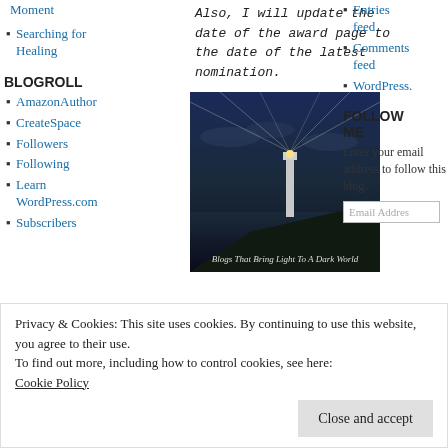Moment
Searching for Healing
Also, I will update the date of the award page to the date of the latest nomination.
BLOGROLL
AmazonAuthor
CreateSpace
Followers
Following
Learn WordPress.com
Subscribers
[Figure (photo): The Lighthouse Award image with text 'Blogs That Bring Light To A Dark World']
Entries feed
Comments feed
WordPress.
FOLLOW ME
Enter your email address to follow this blog.
Email Address
for The
Privacy & Cookies: This site uses cookies. By continuing to use this website, you agree to their use.
To find out more, including how to control cookies, see here:
Cookie Policy
Close and accept